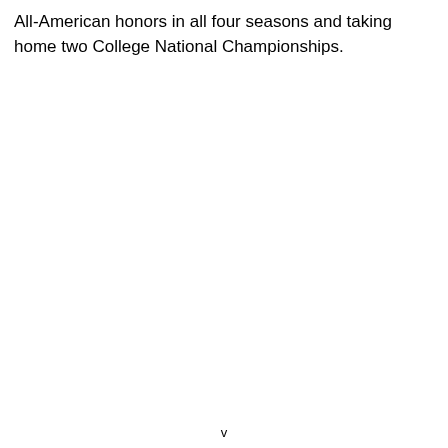All-American honors in all four seasons and taking home two College National Championships.
v